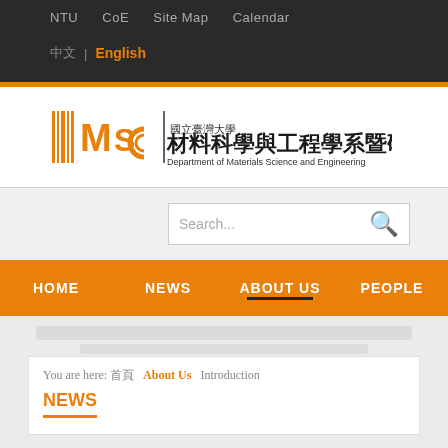NTU   CoE   Site Map   Calendar
中文 | English
[Figure (logo): NTU MSC logo with barcode-style lines, stylized MSC letters, Chinese text 國立臺灣大學 材料科學與工程學系暨研究所 and English subtitle Department of Materials Science and Engineering]
Search...
HOME   NEWS   ABOUT US   PEOPLE
You are here: 首頁  About Us  Introduction
NEWS